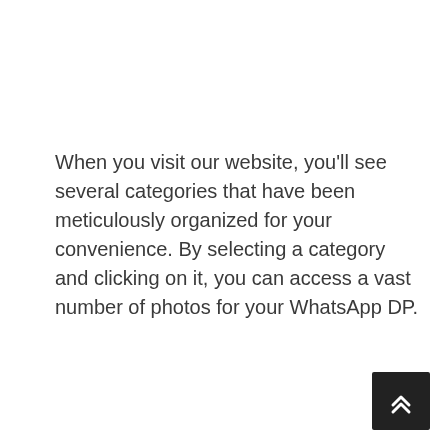When you visit our website, you'll see several categories that have been meticulously organized for your convenience. By selecting a category and clicking on it, you can access a vast number of photos for your WhatsApp DP.
[Figure (other): Dark square button with double upward chevron arrow icon (scroll-to-top button), positioned at bottom-right corner of the page.]